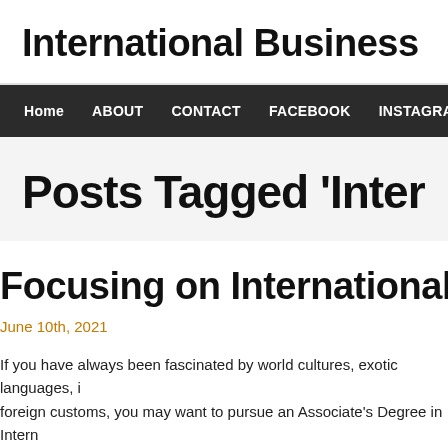International Business
Home  ABOUT  CONTACT  FACEBOOK  INSTAGRAM  PRIVACY POL…
Posts Tagged 'International'
Focusing on International Business
June 10th, 2021
If you have always been fascinated by world cultures, exotic languages, i… foreign customs, you may want to pursue an Associate's Degree in Intern… Bachelor's Degree, an Associate's Degree only requires two years of sch…
What does an Associate's Degree in International Business entail? Stude…